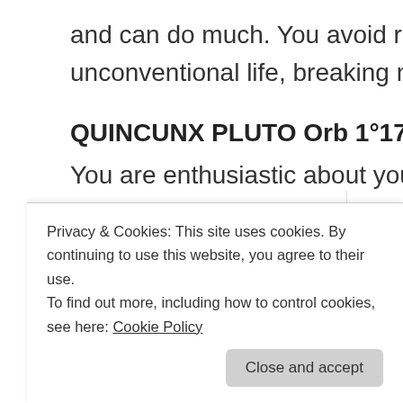and can do much. You avoid restriction and may live an unconventional life, breaking new ground in ways of living.
QUINCUNX PLUTO Orb 1°17′ Separating
You are enthusiastic about your ideals or your ideas. You will need to learn that others don't always agree with you. They may not want you to help. They may not want to applaud your effort.
SATURN
Privacy & Cookies: This site uses cookies. By continuing to use this website, you agree to their use.
To find out more, including how to control cookies, see here: Cookie Policy
optimistic women